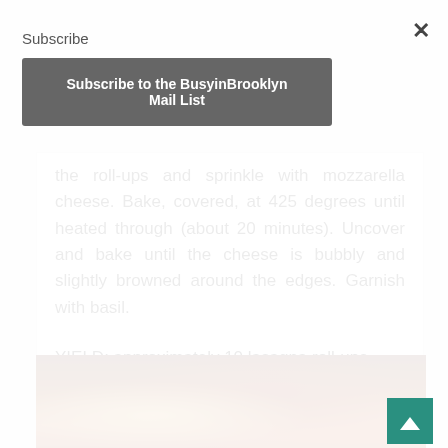Subscribe
×
Subscribe to the BusyinBrooklyn Mail List
the roll-ups and sprinkle with mozzarella cheese. Bake, covered, at 425 degrees until heated through (about 20 minutes). Uncover and bake until the cheese is bubbly and slightly browned around the edges. Garnish with basil.

YIELD: approximately 10 lasagna roll-ups
[Figure (photo): Close-up photo of lasagna roll-ups in a baking dish, showing melted cheese and tomato sauce, warm brown and red tones]